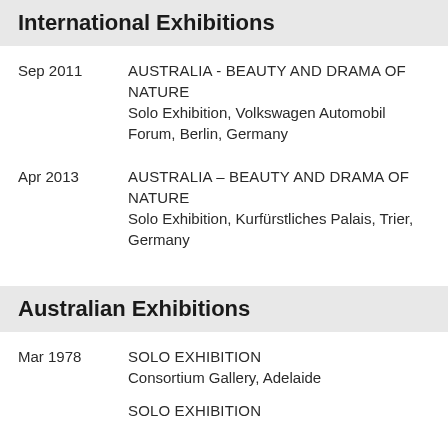International Exhibitions
Sep 2011 | AUSTRALIA - BEAUTY AND DRAMA OF NATURE | Solo Exhibition, Volkswagen Automobil Forum, Berlin, Germany
Apr 2013 | AUSTRALIA – BEAUTY AND DRAMA OF NATURE | Solo Exhibition, Kurfürstliches Palais, Trier, Germany
Australian Exhibitions
Mar 1978 | SOLO EXHIBITION | Consortium Gallery, Adelaide
SOLO EXHIBITION